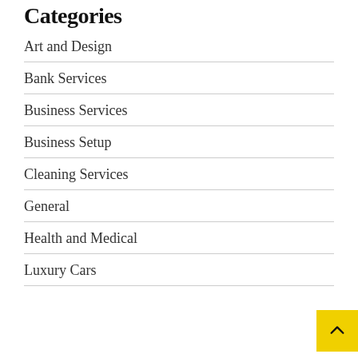Categories
Art and Design
Bank Services
Business Services
Business Setup
Cleaning Services
General
Health and Medical
Luxury Cars